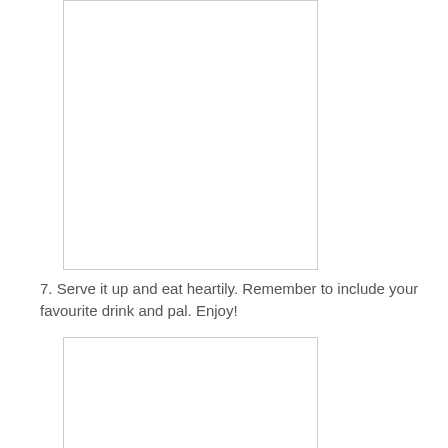[Figure (other): Empty image placeholder box with light gray border, tall rectangle]
7. Serve it up and eat heartily. Remember to include your favourite drink and pal. Enjoy!
[Figure (other): Empty image placeholder box with light gray border, partial rectangle at bottom]